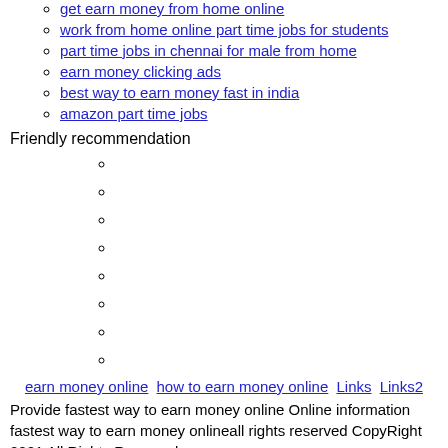get earn money from home online
work from home online part time jobs for students
part time jobs in chennai for male from home
earn money clicking ads
best way to earn money fast in india
amazon part time jobs
Friendly recommendation
earn money online   how to earn money online   Links   Links2
Provide fastest way to earn money online Online information fastest way to earn money onlineall rights reserved CopyRight 2021 All Rights Reserved.